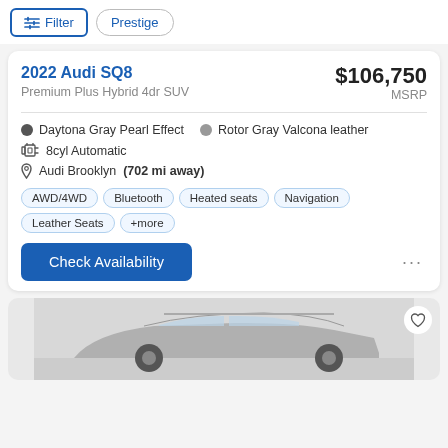Filter  Prestige
2022 Audi SQ8
Premium Plus Hybrid 4dr SUV
$106,750 MSRP
Daytona Gray Pearl Effect
Rotor Gray Valcona leather
8cyl Automatic
Audi Brooklyn (702 mi away)
AWD/4WD
Bluetooth
Heated seats
Navigation
Leather Seats
+more
Check Availability
[Figure (photo): Partial view of a silver/gray Audi SUV (car listing photo), bottom of page]